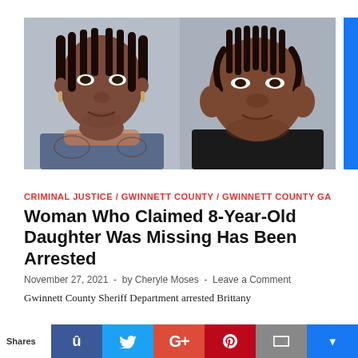[Figure (photo): Two mugshot photos side by side of two women against a gray background]
CRIMINAL JUSTICE / GWINNETT COUNTY / GWINNETT COUNTY GA
Woman Who Claimed 8-Year-Old Daughter Was Missing Has Been Arrested
November 27, 2021  -  by Cheryle Moses  -  Leave a Comment
Gwinnett County Sheriff Department arrested Brittany
Shares